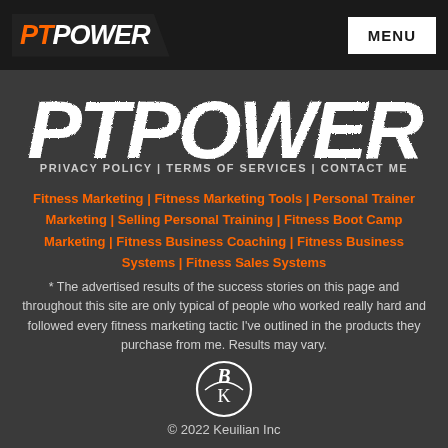PT POWER — MENU
[Figure (logo): PTPOWER large distressed/grunge white italic logo text on dark background]
PRIVACY POLICY | TERMS OF SERVICES | CONTACT ME
Fitness Marketing | Fitness Marketing Tools | Personal Trainer Marketing | Selling Personal Training | Fitness Boot Camp Marketing | Fitness Business Coaching | Fitness Business Systems | Fitness Sales Systems
* The advertised results of the success stories on this page and throughout this site are only typical of people who worked really hard and followed every fitness marketing tactic I've outlined in the products they purchase from me. Results may vary.
[Figure (logo): Keuilian Inc brand monogram logo icon — circular emblem with stylized BK letters in white]
© 2022 Keuilian Inc